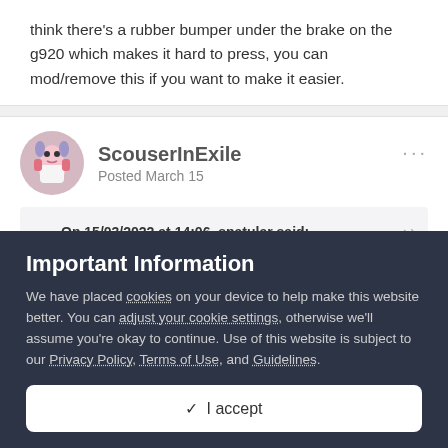think there's a rubber bumper under the brake on the g920 which makes it hard to press, you can mod/remove this if you want to make it easier.
ScouserInExile
Posted March 15
On 15/03/2022 at 14:06, spatular said:
Important Information
We have placed cookies on your device to help make this website better. You can adjust your cookie settings, otherwise we'll assume you're okay to continue. Use of this website is subject to our Privacy Policy, Terms of Use, and Guidelines.
✓ I accept